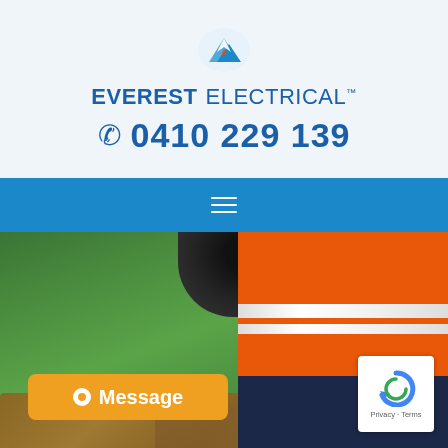[Figure (logo): Everest Electrical logo with mountain peak icon]
EVEREST ELECTRICAL™
📞 0410 229 139
[Figure (photo): Photo of electrician in orange hi-vis vest standing on grass near a vehicle]
Message
[Figure (other): Google reCAPTCHA badge with Privacy - Terms text]